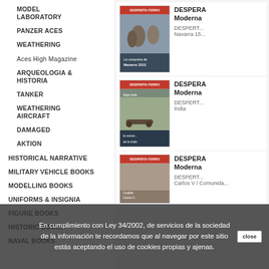MODEL LABORATORY
PANZER ACES
WEATHERING
Aces High Magazine
ARQUEOLOGIA & HISTORIA
TANKER
WEATHERING AIRCRAFT
DAMAGED
AKTION
HISTORICAL NARRATIVE
MILITARY VEHICLE BOOKS
MODELLING BOOKS
UNIFORMS & INSIGNIA
FIGURE BOOKS
HISTORIC BOOKS
NAVAL BOOKS
[Figure (illustration): Cover of Desperta Ferro Moderna magazine showing mounted knights, titled 'La conquista de Navarra 1512']
DESPERTA FERRO Moderna
DESPERT... Navarra 15...
[Figure (illustration): Cover of Desperta Ferro Moderna magazine showing soldiers and cannon, titled 'La monarquia de la India']
DESPERTA FERRO Moderna
DESPERT... India
[Figure (illustration): Cover of Desperta Ferro Moderna magazine showing battle scene, related to Carlos V and Comunidades]
DESPERTA FERRO Moderna
DESPERT... Carlos V / Comunida...
En cumplimiento con Ley 34/2002, de servicios de la sociedad de la información te recordamos que al navegar por este sitio estás aceptando el uso de cookies propias y ajenas.